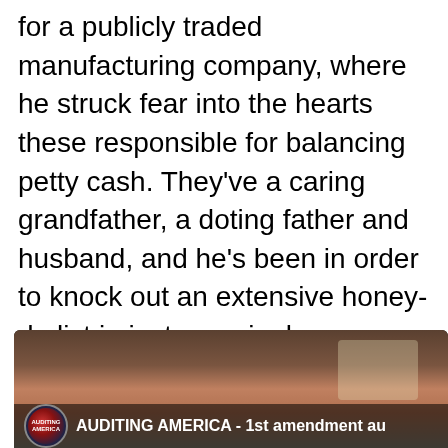for a publicly traded manufacturing company, where he struck fear into the hearts these responsible for balancing petty cash. They've a caring grandfather, a doting father and husband, and he's been in order to knock out an extensive honey-do list in just one single weekend. A person don't ever get yourself a chance, try his Christmas fudge.
[Figure (screenshot): Video thumbnail showing a YouTube-style video preview for 'AUDITING AMERICA - 1st amendment au' with a channel icon and a person visible in the background]